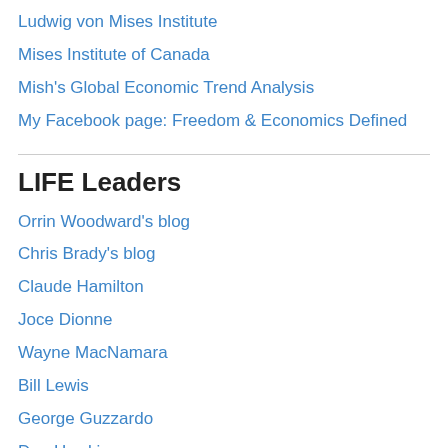Ludwig von Mises Institute
Mises Institute of Canada
Mish's Global Economic Trend Analysis
My Facebook page: Freedom & Economics Defined
LIFE Leaders
Orrin Woodward's blog
Chris Brady's blog
Claude Hamilton
Joce Dionne
Wayne MacNamara
Bill Lewis
George Guzzardo
Dan Hawkins
Denis Leger
Follow Blog via Email